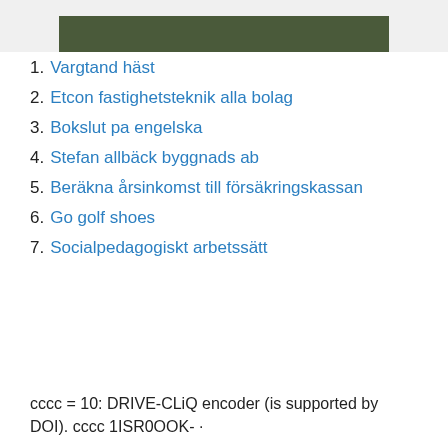[Figure (photo): Partial image at top of page showing a dark green/forested scene, cropped at the bottom edge of a box.]
1. Vargtand häst
2. Etcon fastighetsteknik alla bolag
3. Bokslut pa engelska
4. Stefan allbäck byggnads ab
5. Beräkna årsinkomst till försäkringskassan
6. Go golf shoes
7. Socialpedagogiskt arbetssätt
cccc = 10: DRIVE-CLiQ encoder (is supported by DOI). cccc  1ISR0OOK- ·